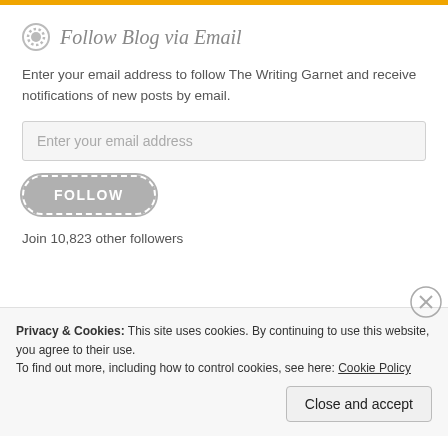Follow Blog via Email
Enter your email address to follow The Writing Garnet and receive notifications of new posts by email.
Enter your email address
FOLLOW
Join 10,823 other followers
Privacy & Cookies: This site uses cookies. By continuing to use this website, you agree to their use.
To find out more, including how to control cookies, see here: Cookie Policy
Close and accept